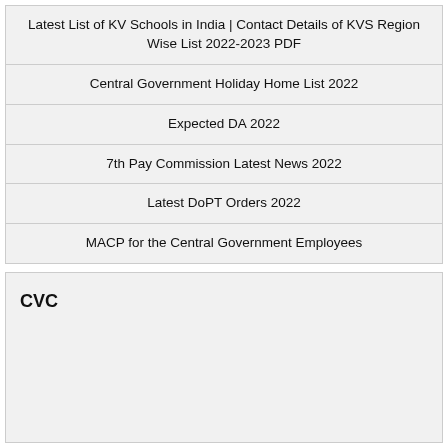Latest List of KV Schools in India | Contact Details of KVS Region Wise List 2022-2023 PDF
Central Government Holiday Home List 2022
Expected DA 2022
7th Pay Commission Latest News 2022
Latest DoPT Orders 2022
MACP for the Central Government Employees
CVC